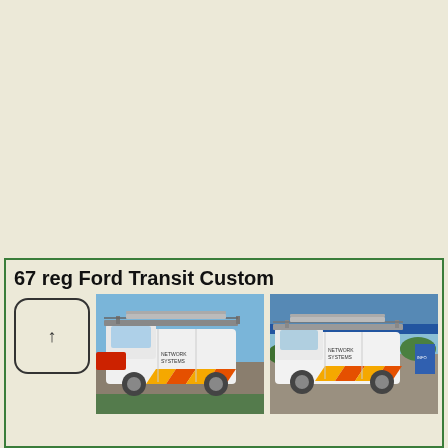67 reg Ford Transit Custom
[Figure (photo): Icon placeholder box with upward arrow symbol]
[Figure (photo): White Ford Transit Custom van with roof rack and yellow/orange chevron markings, parked outdoors, front-side view]
[Figure (photo): White Ford Transit Custom van with roof rack and yellow/orange chevron markings, parked near a building, front-side view from different angle]